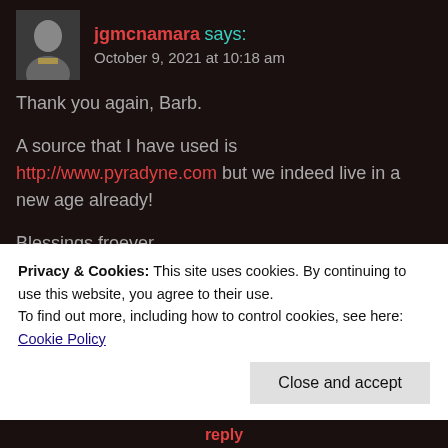[Figure (photo): Avatar photo of jgmcnamara, a man in a suit with a yellow tie]
jgmcnamara says:
October 9, 2021 at 10:18 am
Thank you again, Barb.
A source that I have used is http://www.pyradyne.com but we indeed live in a new age already!
Blessings froever
★ Like
Privacy & Cookies: This site uses cookies. By continuing to use this website, you agree to their use.
To find out more, including how to control cookies, see here: Cookie Policy
Close and accept
reply